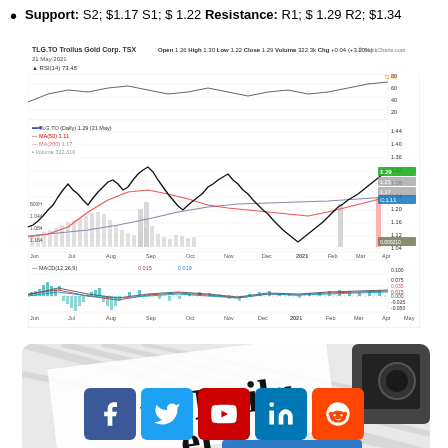Support: S2; $1.17 S1; $ 1.22 Resistance: R1; $ 1.29 R2; $1.34
[Figure (continuous-plot): Stock chart for TLG.TO (Troilus Gold Corp, TSX) dated 21 May 2021. Shows candlestick/line price chart with MA(50) and MA(200) overlays, volume bars, and MACD(12,26,9) indicator panel below. Price ranged roughly from $0.84 to $1.44 over the period Jun 2020 to May 2021. Current price shown as 1.29 with MACD values 0.035, 0.015, 0.019.]
[Figure (photo): Newspaper image showing partial text 've Daily' and partial word 'el', with what appears to be a dark object (phone or camera) in the top right corner. Background is white/light gray with diagonal lines suggesting newspaper texture.]
[Figure (infographic): Social media share buttons row: Facebook (blue), Twitter (light blue), YouTube (red), LinkedIn (blue), Reddit (orange-red)]